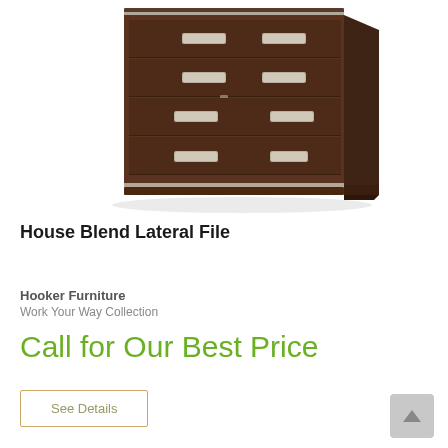[Figure (photo): A dark brown wooden lateral file cabinet with four drawers, each fitted with silver/brushed metal bar handles. The cabinet has a dark espresso walnut finish with silver accent trim at top and bottom. Photographed on a white background from a slightly angled front view.]
House Blend Lateral File
Hooker Furniture
Work Your Way Collection
Call for Our Best Price
See Details